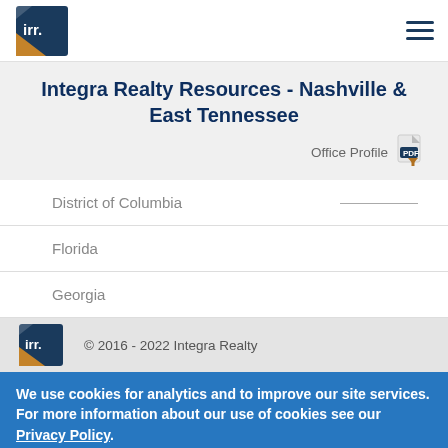[Figure (logo): IRR Integra Realty Resources logo - blue and brown square icon with 'irr.' text]
Integra Realty Resources - Nashville & East Tennessee
Office Profile
District of Columbia
Florida
Georgia
[Figure (logo): IRR Integra Realty Resources footer logo - blue and brown square icon with 'irr.' text]
© 2016 - 2022 Integra Realty
We use cookies for analytics and to improve our site services. For more information about our use of cookies see our Privacy Policy.